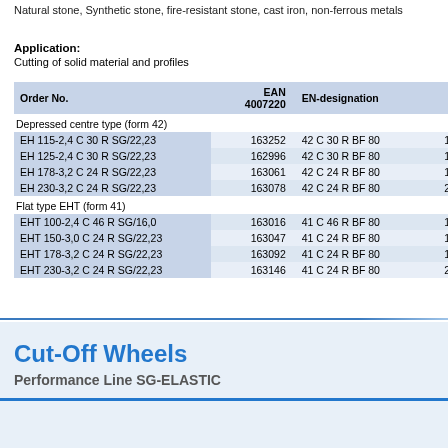Natural stone, Synthetic stone, fire-resistant stone, cast iron, non-ferrous metals
Application: Cutting of solid material and profiles
| Order No. | EAN 4007220 | EN-designation |  |
| --- | --- | --- | --- |
| Depressed centre type (form 42) |  |  |  |
| EH 115-2,4 C 30 R SG/22,23 | 163252 | 42 C 30 R BF 80 | 11 |
| EH 125-2,4 C 30 R SG/22,23 | 162996 | 42 C 30 R BF 80 | 12 |
| EH 178-3,2 C 24 R SG/22,23 | 163061 | 42 C 24 R BF 80 | 17 |
| EH 230-3,2 C 24 R SG/22,23 | 163078 | 42 C 24 R BF 80 | 23 |
| Flat type EHT (form 41) |  |  |  |
| EHT 100-2,4 C 46 R SG/16,0 | 163016 | 41 C 46 R BF 80 | 10 |
| EHT 150-3,0 C 24 R SG/22,23 | 163047 | 41 C 24 R BF 80 | 15 |
| EHT 178-3,2 C 24 R SG/22,23 | 163092 | 41 C 24 R BF 80 | 17 |
| EHT 230-3,2 C 24 R SG/22,23 | 163146 | 41 C 24 R BF 80 | 23 |
Cut-Off Wheels
Performance Line SG-ELASTIC